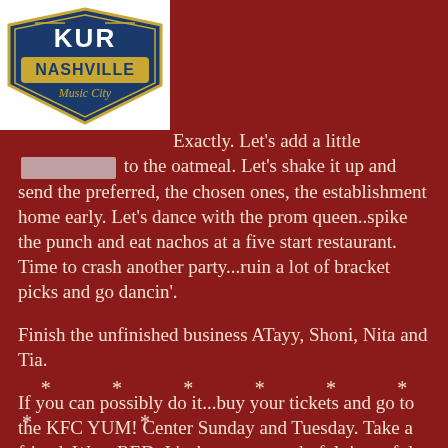[Figure (logo): KKUR Nashville Music City logo — a shield-shaped badge with stylized text 'KUR' at top and 'NASHVILLE' banner below with 'Music City' text]
Exactly. Let's add a little [REDACTED] to the oatmeal. Let's shake it up and send the preferred, the chosen ones, the establishment home early. Let's dance with the prom queen..spike the punch and eat nachos at a five start restaurant. Time to crash another party...ruin a lot of bracket picks and go dancin'.
Finish the unfinished business ATayy, Shoni, Nita and Tia.
If you can possibly do it...buy your tickets and go to the KFC YUM! Center Sunday and Tuesday. Take a friend. Wear RED. It's the most wonderful time of the year.
*    *    *    *    *    *
*    *